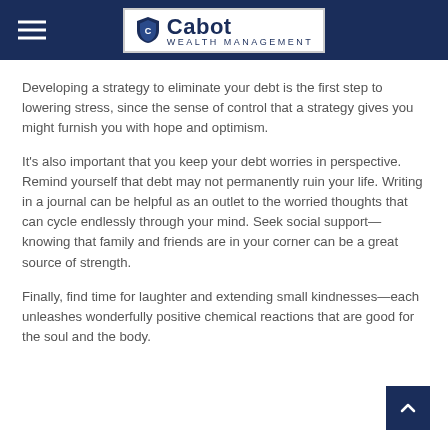Cabot Wealth Management
Developing a strategy to eliminate your debt is the first step to lowering stress, since the sense of control that a strategy gives you might furnish you with hope and optimism.
It’s also important that you keep your debt worries in perspective. Remind yourself that debt may not permanently ruin your life. Writing in a journal can be helpful as an outlet to the worried thoughts that can cycle endlessly through your mind. Seek social support—knowing that family and friends are in your corner can be a great source of strength.
Finally, find time for laughter and extending small kindnesses—each unleashes wonderfully positive chemical reactions that are good for the soul and the body.